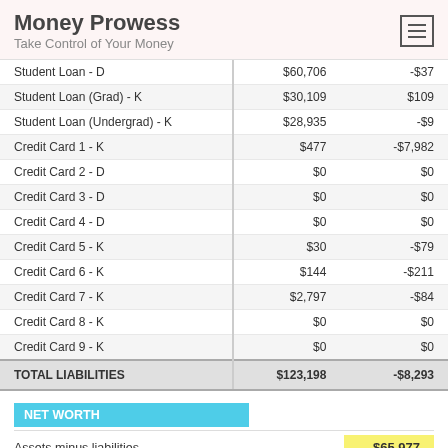Money Prowess — Take Control of Your Money
|  |  |  |
| --- | --- | --- |
| Student Loan - D | $60,706 | -$37 |
| Student Loan (Grad) - K | $30,109 | $109 |
| Student Loan (Undergrad) - K | $28,935 | -$9 |
| Credit Card 1 - K | $477 | -$7,982 |
| Credit Card 2 - D | $0 | $0 |
| Credit Card 3 - D | $0 | $0 |
| Credit Card 4 - D | $0 | $0 |
| Credit Card 5 - K | $30 | -$79 |
| Credit Card 6 - K | $144 | -$211 |
| Credit Card 7 - K | $2,797 | -$84 |
| Credit Card 8 - K | $0 | $0 |
| Credit Card 9 - K | $0 | $0 |
| TOTAL LIABILITIES | $123,198 | -$8,293 |
NET WORTH
Assets minus liabilities
$65,977